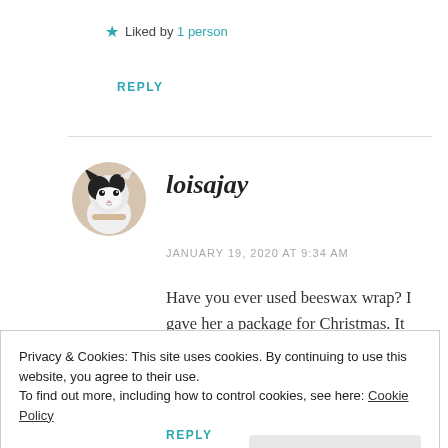★ Liked by 1 person
REPLY
[Figure (photo): Round avatar photo of a black and white cat]
loisajay
JANUARY 19, 2020 AT 9:34 AM
Have you ever used beeswax wrap? I gave her a package for Christmas. It warms to
Privacy & Cookies: This site uses cookies. By continuing to use this website, you agree to their use.
To find out more, including how to control cookies, see here: Cookie Policy
Close and accept
REPLY